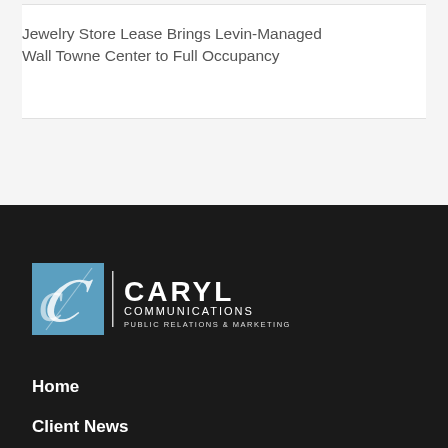Jewelry Store Lease Brings Levin-Managed Wall Towne Center to Full Occupancy
[Figure (logo): Caryl Communications Public Relations & Marketing logo with blue square and stylized C, white text on dark background]
Home
Client News